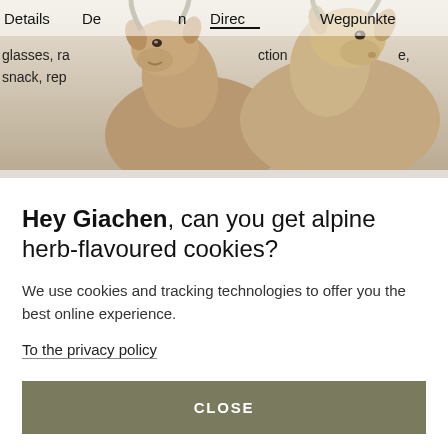[Figure (photo): Two alpine ibex/goat animals facing the camera against a light grey/white background. Navigation tabs visible at top: Details, De[scription], [Direc]tion (active, underlined), Wegpunkte. Partial text visible: 'glasses, ra... ...ction... ...e,' and 'snack, rep...']
Hey Giachen, can you get alpine herb-flavoured cookies?
We use cookies and tracking technologies to offer you the best online experience.
To the privacy policy
CLOSE